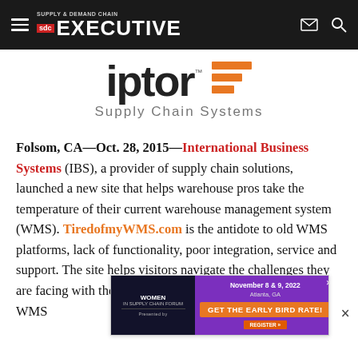Supply & Demand Chain Executive
[Figure (logo): Iptor Supply Chain Systems logo with orange horizontal bars]
Folsom, CA—Oct. 28, 2015—International Business Systems (IBS), a provider of supply chain solutions, launched a new site that helps warehouse pros take the temperature of their current warehouse management system (WMS). TiredofmyWMS.com is the antidote to old WMS platforms, lack of functionality, poor integration, service and support. The site helps visitors navigate the challenges they are facing with their WMS, and benchmark their current WMS against industry-leading WMS
[Figure (infographic): Women in Supply Chain Forum advertisement banner — November 8 & 9, 2022, Atlanta, GA — GET THE EARLY BIRD RATE!]